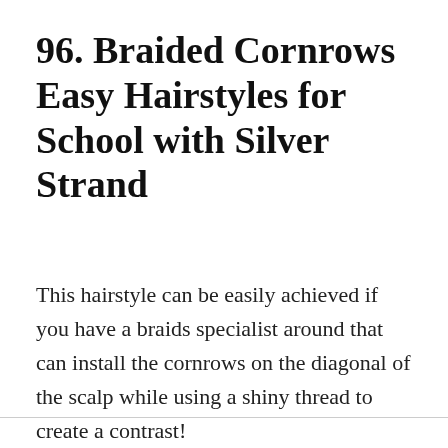96. Braided Cornrows Easy Hairstyles for School with Silver Strand
This hairstyle can be easily achieved if you have a braids specialist around that can install the cornrows on the diagonal of the scalp while using a shiny thread to create a contrast!